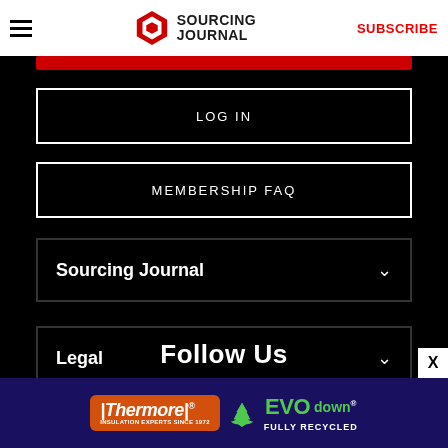Sourcing Journal | SUBSCRIBE
LOG IN
MEMBERSHIP FAQ
Sourcing Journal
Legal
Follow Us
[Figure (other): Thermore EVO down fully recycled advertisement banner]